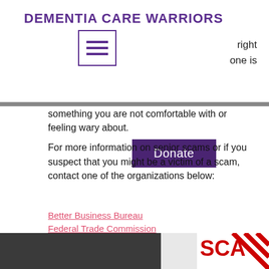DEMENTIA CARE WARRIORS
[Figure (other): Hamburger menu icon (three horizontal lines inside a purple bordered square)]
right one is
[Figure (other): Donate button with dark purple background and white text]
something you are not comfortable with or feeling wary about.
For more information on senior scams or if you suspect that you might be a victim of a scam, contact one of the organizations below:
Better Business Bureau
Federal Trade Commission
National Fraud Information Center
AARP
[Figure (photo): Bottom image showing a dark gray area on the left and a partial image with red text 'SCA' on the right, resembling a scam warning sign]